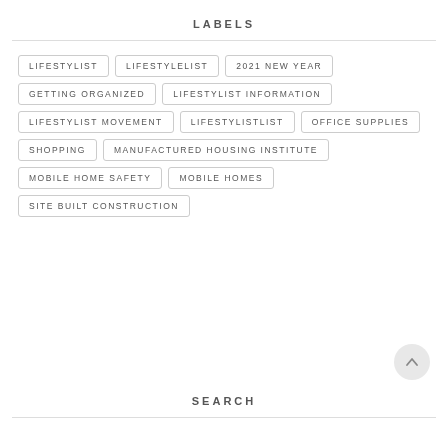LABELS
LIFESTYLIST
LIFESTYLELIST
2021 NEW YEAR
GETTING ORGANIZED
LIFESTYLIST INFORMATION
LIFESTYLIST MOVEMENT
LIFESTYLISTLIST
OFFICE SUPPLIES
SHOPPING
MANUFACTURED HOUSING INSTITUTE
MOBILE HOME SAFETY
MOBILE HOMES
SITE BUILT CONSTRUCTION
SEARCH